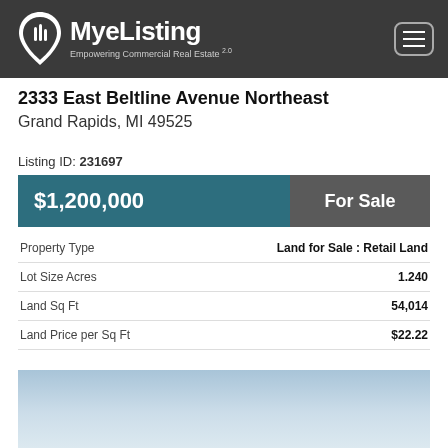MyeListing — Empowering Commercial Real Estate
2333 East Beltline Avenue Northeast
Grand Rapids, MI 49525
Listing ID: 231697
$1,200,000   For Sale
| Property Type | Land for Sale : Retail Land |
| --- | --- |
| Lot Size Acres | 1.240 |
| Land Sq Ft | 54,014 |
| Land Price per Sq Ft | $22.22 |
[Figure (photo): Exterior property photo showing sky and land]